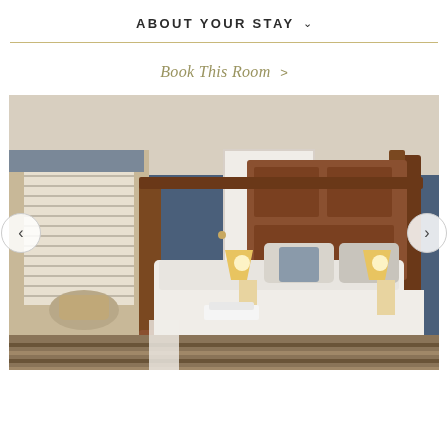ABOUT YOUR STAY ∨
Book This Room  >
[Figure (photo): Hotel room with a large four-poster wooden bed with white bedding, blue floral wallpaper, bedside lamps, striped carpet floor, and a window with blinds. Navigation arrows on left and right sides of the image.]